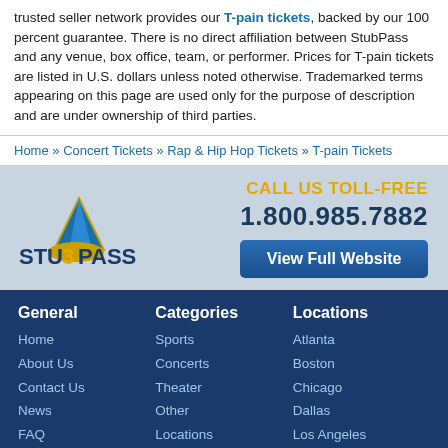trusted seller network provides our T-pain tickets, backed by our 100 percent guarantee. There is no direct affiliation between StubPass and any venue, box office, team, or performer. Prices for T-pain tickets are listed in U.S. dollars unless noted otherwise. Trademarked terms appearing on this page are used only for the purpose of description and are under ownership of third parties.
Home » Concert Tickets » Rap & Hip Hop Tickets » T-pain Tickets
[Figure (logo): StubPass logo with shark fin and stylized text]
CALL US TOLL-FREE 1.800.985.7882
View Full Website
General
Home
About Us
Contact Us
News
FAQ
Categories
Sports
Concerts
Theater
Other
Locations
Locations
Atlanta
Boston
Chicago
Dallas
Los Angeles
New York
©2022 StubPass.com. All rights reserved. Use of this website signifies your agreement to the StubPass.com User Agreement and Privacy Policy.